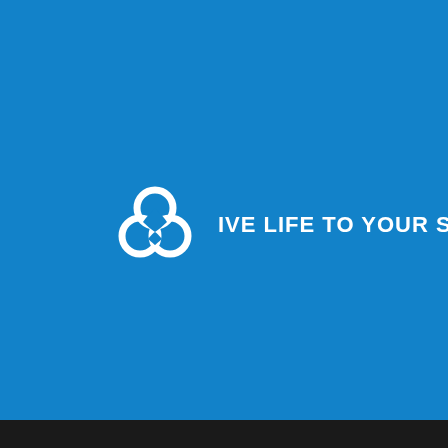[Figure (logo): Three interlocking white rings logo with the tagline 'GIVE LIFE TO YOUR STORY.' on a blue background]